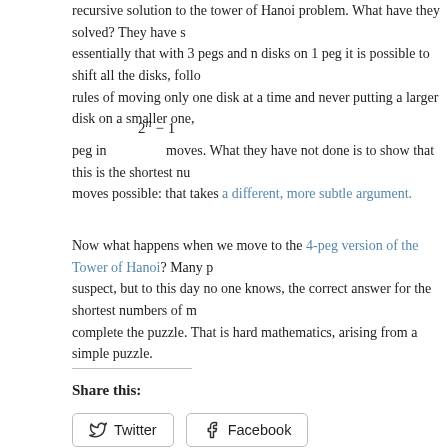recursive solution to the tower of Hanoi problem. What have they solved? They have shown essentially that with 3 pegs and n disks on 1 peg it is possible to shift all the disks, following rules of moving only one disk at a time and never putting a larger disk on a smaller one, to another peg in 2^n − 1 moves. What they have not done is to show that this is the shortest number of moves possible: that takes a different, more subtle argument.
Now what happens when we move to the 4-peg version of the Tower of Hanoi? Many people suspect, but to this day no one knows, the correct answer for the shortest numbers of moves to complete the puzzle. That is hard mathematics, arising from a simple puzzle.
Share this:
Twitter  Facebook
3 Responses to "Depression and problem solving in mathematics: the art of staying upbeat"
1 | alex